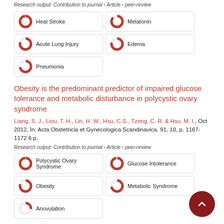Research output: Contribution to journal › Article › peer-review
Heat Stroke
Melatonin
Acute Lung Injury
Edema
Pneumonia
Obesity is the predominant predictor of impaired glucose tolerance and metabolic disturbance in polycystic ovary syndrome
Liang, S. J., Liou, T. H., Lin, H. W., Hsu, C-S., Tzeng, C. R. & Hsu, M. I., Oct 2012, In: Acta Obstetricia et Gynecologica Scandinavica. 91, 10, p. 1167-1172 6 p.
Research output: Contribution to journal › Article › peer-review
Polycystic Ovary Syndrome
Glucose Intolerance
Obesity
Metabolic Syndrome
Anovulation